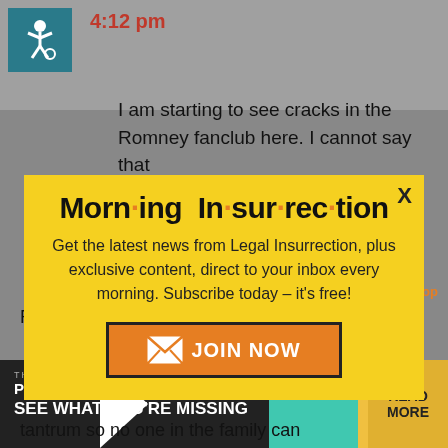[Figure (screenshot): Background of a website article page with accessibility icon, time stamp '4:12 pm', partial article text about Romney fanclub cracks, a bottom advertisement banner for 'The Perspective - See What You're Missing', and partial article text about Romney looking like a petulant...]
[Figure (infographic): Yellow modal popup overlay for 'Morning Insurrection' newsletter signup. Title in bold black with orange dot separators. Body text: 'Get the latest news from Legal Insurrection, plus exclusive content, direct to your inbox every morning. Subscribe today – it's free!' Orange 'JOIN NOW' button with envelope icon. X close button in top right.]